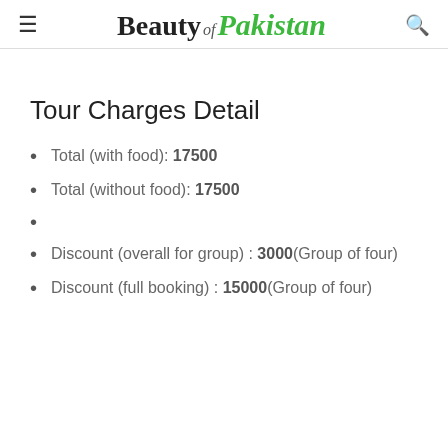Beauty of Pakistan
Tour Charges Detail
Total (with food): 17500
Total (without food): 17500
Discount (overall for group) : 3000(Group of four)
Discount (full booking) : 15000(Group of four)